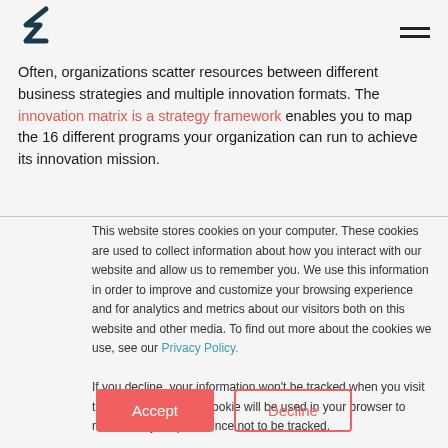[Figure (logo): Stylized number 3 or arrow logo in dark teal/navy]
Often, organizations scatter resources between different business strategies and multiple innovation formats. The innovation matrix is a strategy framework enables you to map the 16 different programs your organization can run to achieve its innovation mission.
This website stores cookies on your computer. These cookies are used to collect information about how you interact with our website and allow us to remember you. We use this information in order to improve and customize your browsing experience and for analytics and metrics about our visitors both on this website and other media. To find out more about the cookies we use, see our Privacy Policy.
If you decline, your information won't be tracked when you visit this website. A single cookie will be used in your browser to remember your preference not to be tracked.